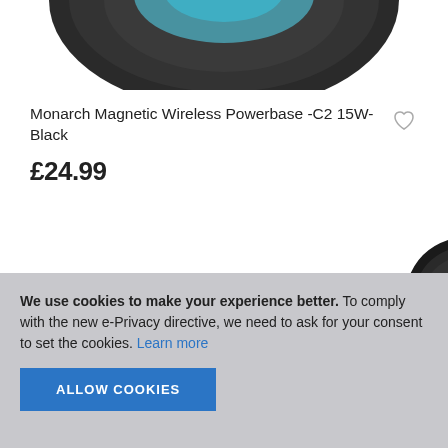[Figure (photo): Partial view of a dark circular wireless charging pad (Monarch Magnetic Wireless Powerbase C2 15W) cropped at top of frame]
Monarch Magnetic Wireless Powerbase -C2 15W-Black
£24.99
[Figure (photo): Partial view of a black cable in the lower-right corner of the product listing]
We use cookies to make your experience better. To comply with the new e-Privacy directive, we need to ask for your consent to set the cookies. Learn more
ALLOW COOKIES